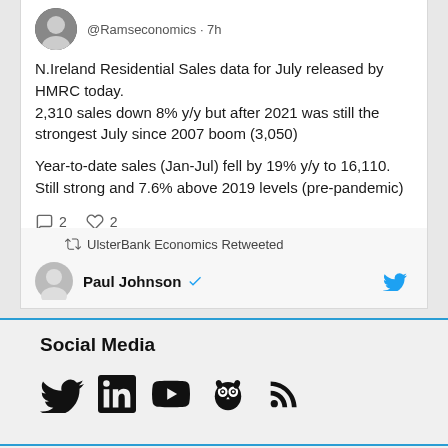@Ramseconomics · 7h
N.Ireland Residential Sales data for July released by HMRC today.
2,310 sales down 8% y/y but after 2021 was still the strongest July since 2007 boom (3,050)

Year-to-date sales (Jan-Jul) fell by 19% y/y to 16,110. Still strong and 7.6% above 2019 levels (pre-pandemic)
UlsterBank Economics Retweeted
Paul Johnson
Social Media
[Figure (infographic): Social media icons: Twitter bird, LinkedIn 'in', YouTube, Hootsuite owl, RSS feed]